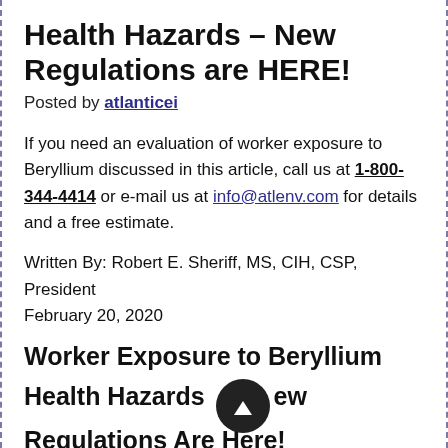Health Hazards – New Regulations are HERE!
Posted by atlanticei
If you need an evaluation of worker exposure to Beryllium discussed in this article, call us at 1-800-344-4414 or e-mail us at info@atlenv.com for details and a free estimate.
Written By: Robert E. Sheriff, MS, CIH, CSP, President
February 20, 2020
Worker Exposure to Beryllium Health Hazards – New Regulations Are Here!